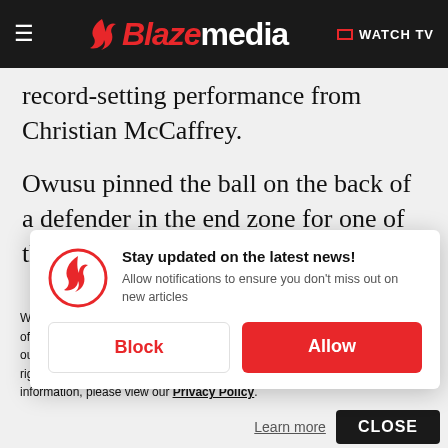Blaze media — WATCH TV
record-setting performance from Christian McCaffrey.
Owusu pinned the ball on the back of a defender in the end zone for one of the most memorable catches
[Figure (other): Blaze Media notification popup with logo icon, 'Stay updated on the latest news!' title, description text, and Block/Allow buttons]
We use cookies to better understand website visitors, for advertising, and to offer you a better experience. For more information about our use of cookies, our collection, use, and disclosure of personal information generally, and any rights you may have to access, delete, or opt out of the sale of your personal information, please view our Privacy Policy.
Learn more
CLOSE